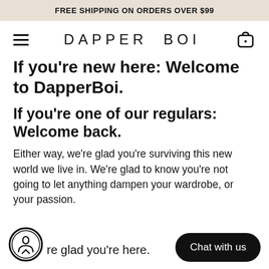FREE SHIPPING ON ORDERS OVER $99
[Figure (logo): Dapper Boi logo with hamburger menu and cart icon navigation bar]
If you're new here: Welcome to DapperBoi.
If you're one of our regulars: Welcome back.
Either way, we're glad you're surviving this new world we live in. We're glad to know you're not going to let anything dampen your wardrobe, or your passion.
re glad you're here.